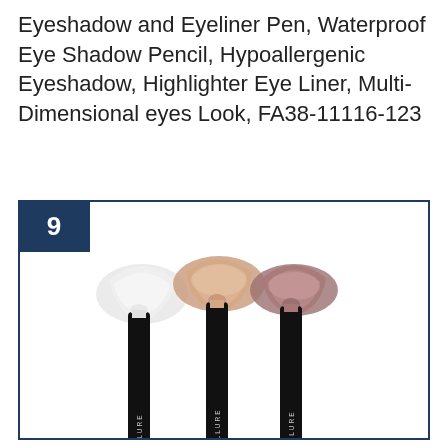Eyeshadow and Eyeliner Pen, Waterproof Eye Shadow Pencil, Hypoallergenic Eyeshadow, Highlighter Eye Liner, Multi-Dimensional eyes Look, FA38-11116-123
[Figure (photo): Three FOCALLURE eyeshadow/eyeliner pencil sticks in black packaging standing upright, with color swatches behind them: white/silver shimmer, rose gold/champagne, and mauve/burgundy. Number 9 badge in dark navy square in top-left corner of the card frame.]